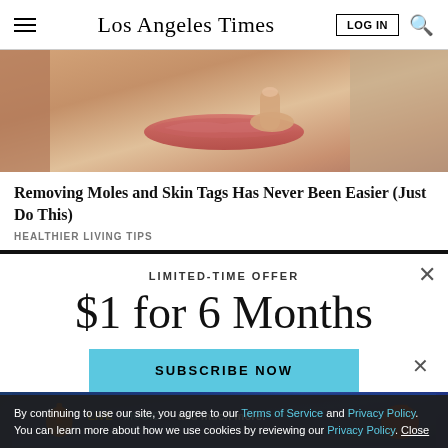Los Angeles Times
[Figure (photo): Close-up photo of a person touching their lip/mouth area with their finger, warm skin tones]
Removing Moles and Skin Tags Has Never Been Easier (Just Do This)
HEALTHIER LIVING TIPS
LIMITED-TIME OFFER
$1 for 6 Months
SUBSCRIBE NOW
By continuing to use our site, you agree to our Terms of Service and Privacy Policy. You can learn more about how we use cookies by reviewing our Privacy Policy. Close
[Figure (advertisement): Live music and much more advertisement banner in dark blue]